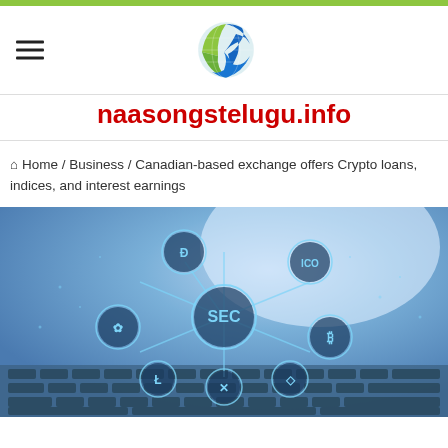[Figure (logo): naasongstelugu.info website logo with blue globe and swirl icon]
naasongstelugu.info
Home / Business / Canadian-based exchange offers Crypto loans, indices, and interest earnings
[Figure (photo): Cryptocurrency technology illustration showing coin icons (Dash, ICO, SEC, Bitcoin, Litecoin, Ethereum, Ripple) connected in a network over a laptop keyboard with blue digital glow effect]